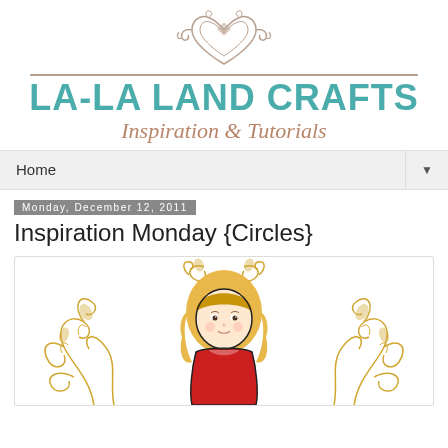[Figure (logo): La-La Land Crafts logo with decorative heart ornament at top, horizontal lines flanking the brand name, teal uppercase brand name LA-LA LAND CRAFTS, and brown italic tagline Inspiration & Tutorials]
Home
Monday, December 12, 2011
Inspiration Monday {Circles}
[Figure (illustration): Cartoon illustration of a young girl with blonde hair and red clothing surrounded by golden decorative floral scrollwork swirls]